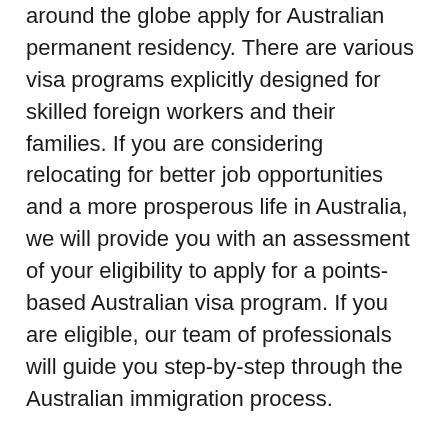around the globe apply for Australian permanent residency. There are various visa programs explicitly designed for skilled foreign workers and their families. If you are considering relocating for better job opportunities and a more prosperous life in Australia, we will provide you with an assessment of your eligibility to apply for a points-based Australian visa program. If you are eligible, our team of professionals will guide you step-by-step through the Australian immigration process.
When working with the highly trained professionals at Australia Immigration Agency, you will have help through the entire immigration process. Some of the advantages include top customer service, working with an experienced